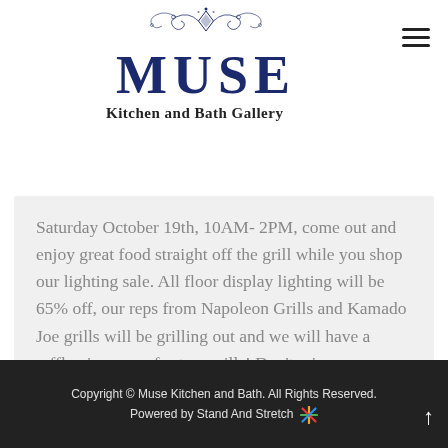[Figure (logo): MUSE Kitchen and Bath Gallery logo with decorative blue ornament above the bold navy MUSE lettering and subtitle text]
Saturday October 19th, 10AM- 2PM, come out and enjoy great food straight off the grill while you shop our lighting sale. All floor display lighting will be 65% off, our reps from Napoleon Grills and Kamado Joe grills will be grilling out and we will have a raffle give away for two grills! Don't miss...
Copyright © Muse Kitchen and Bath. All Rights Reserved. Powered by Stand And Stretch